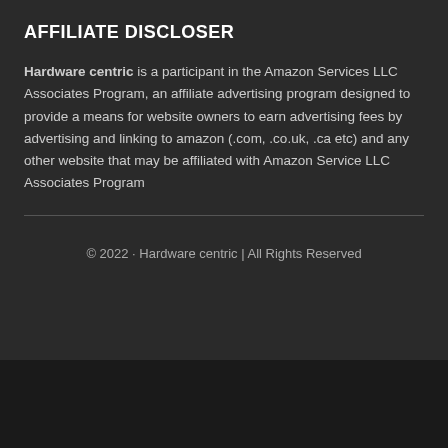AFFILIATE DISCLOSER
Hardware centric is a participant in the Amazon Services LLC Associates Program, an affiliate advertising program designed to provide a means for website owners to earn advertising fees by advertising and linking to amazon (.com, .co.uk, .ca etc) and any other website that may be affiliated with Amazon Service LLC Associates Program
© 2022 · Hardware centric | All Rights Reserved